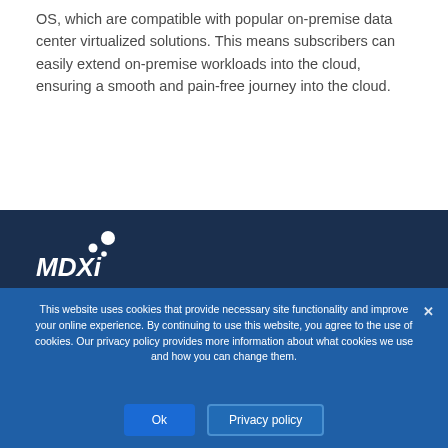OS, which are compatible with popular on-premise data center virtualized solutions. This means subscribers can easily extend on-premise workloads into the cloud, ensuring a smooth and pain-free journey into the cloud.
[Figure (logo): MDXi logo in white on dark navy background]
This website uses cookies that provide necessary site functionality and improve your online experience. By continuing to use this website, you agree to the use of cookies. Our privacy policy provides more information about what cookies we use and how you can change them.